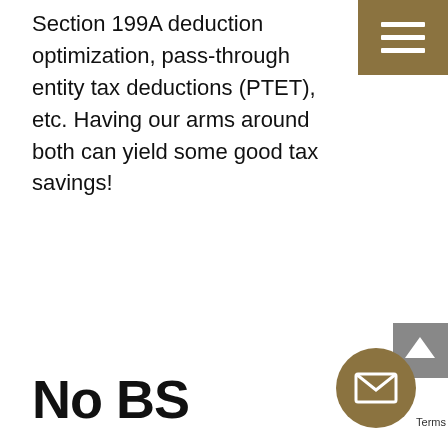[Figure (other): Hamburger menu icon — three white horizontal bars on a dark gold/tan square background in the top-right corner]
Section 199A deduction optimization, pass-through entity tax deductions (PTET), etc. Having our arms around both can yield some good tax savings!
No BS
[Figure (other): Circular dark gold button with an envelope/mail icon, bottom-right corner. Grey scroll-to-top arrow box behind it.]